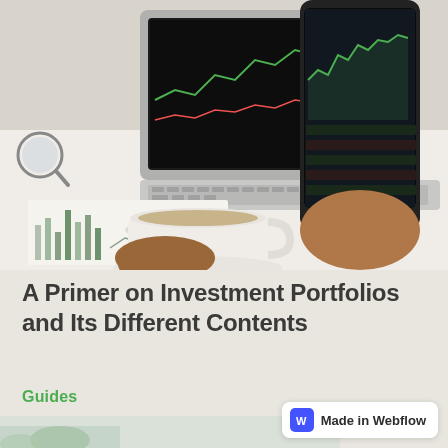[Figure (photo): A person holding a smartphone showing stock market charts and data, with a laptop keyboard in the background, financial charts on paper, and a cup of coffee on a white desk surface.]
A Primer on Investment Portfolios and Its Different Contents
Guides
[Figure (photo): Partial view of another article thumbnail image at the bottom of the page, showing a light background with a plant.]